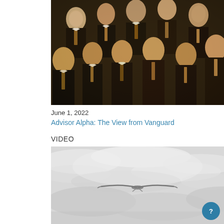[Figure (illustration): A classical oil painting showing a crowd of young men in dark suits and ties looking upward, rendered in warm amber and dark tones.]
June 1, 2022
Advisor Alpha: The View from Vanguard
VIDEO
[Figure (photo): A grayscale photograph of a bird or glider soaring through a cloudy, grey sky.]